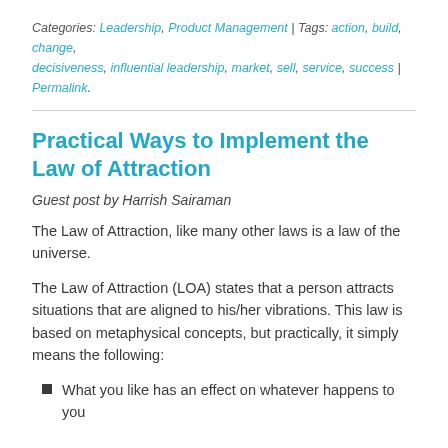Categories: Leadership, Product Management | Tags: action, build, change, decisiveness, influential leadership, market, sell, service, success | Permalink.
Practical Ways to Implement the Law of Attraction
Guest post by Harrish Sairaman
The Law of Attraction, like many other laws is a law of the universe.
The Law of Attraction (LOA) states that a person attracts situations that are aligned to his/her vibrations. This law is based on metaphysical concepts, but practically, it simply means the following:
What you like has an effect on whatever happens to you